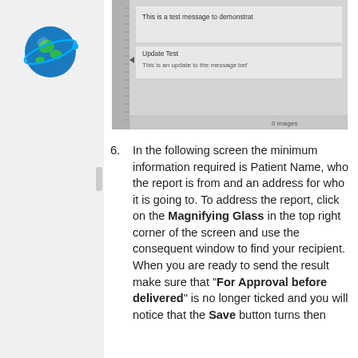[Figure (screenshot): Screenshot of a software interface showing a message list with 'This is a test message to demonstrate' and 'Update Test' entries, with '0 images' shown at bottom]
6. In the following screen the minimum information required is Patient Name, who the report is from and an address for who it is going to. To address the report, click on the Magnifying Glass in the top right corner of the screen and use the consequent window to find your recipient. When you are ready to send the result make sure that "For Approval before delivered" is no longer ticked and you will notice that the Save button turns then